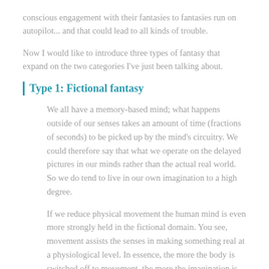conscious engagement with their fantasies to fantasies run on autopilot... and that could lead to all kinds of trouble.
Now I would like to introduce three types of fantasy that expand on the two categories I've just been talking about.
Type 1: Fictional fantasy
We all have a memory-based mind; what happens outside of our senses takes an amount of time (fractions of seconds) to be picked up by the mind's circuitry. We could therefore say that what we operate on the delayed pictures in our minds rather than the actual real world. So we do tend to live in our own imagination to a high degree.
If we reduce physical movement the human mind is even more strongly held in the fictional domain. You see, movement assists the senses in making something real at a physiological level. In essence, the more the body is switched off to movement, the more the imagination is able